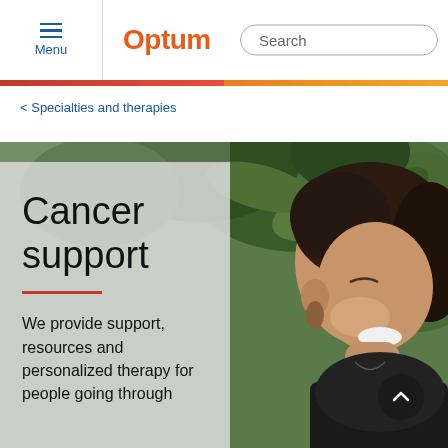Menu | Optum | Search
< Specialties and therapies
[Figure (photo): A smiling woman with dark curly hair photographed in front of lush green foliage, laughing with eyes closed, wearing a dark jacket.]
Cancer support
We provide support, resources and personalized therapy for people going through...